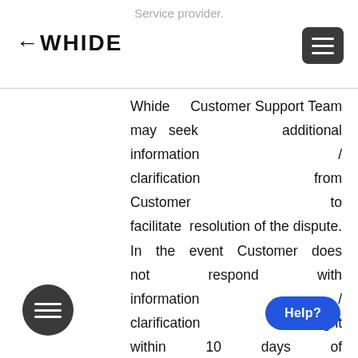Service provider.
[Figure (logo): WHIDE logo with left-pointing arrow prefix, bold black text]
[Figure (other): Dark gray hamburger menu button (three white horizontal lines) in top right corner]
Whide Customer Support Team may seek additional information / clarification from Customer to facilitate resolution of the dispute. In the event Customer does not respond with information / clarification sought within 10 days of such request, the dispute shall be...
[Figure (other): Dark circular menu icon with three white horizontal lines, bottom left]
[Figure (other): Blue rounded Help? button, bottom right]